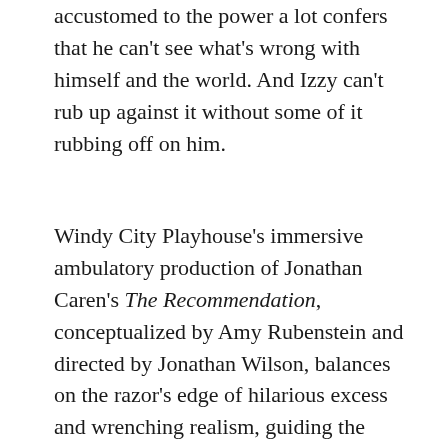accustomed to the power a lot confers that he can't see what's wrong with himself and the world. And Izzy can't rub up against it without some of it rubbing off on him.
Windy City Playhouse's immersive ambulatory production of Jonathan Caren's The Recommendation, conceptualized by Amy Rubenstein and directed by Jonathan Wilson, balances on the razor's edge of hilarious excess and wrenching realism, guiding the audience from college dorm to sushi bar to jail cell (replete with beverages for most occasions) as the story twists and twists again. Carrying the suspense are stellar performances by Hester, Pogue, and Brian Keys (as convict Dwight Barnes), who reveal their characters with sympathy and complexity. This is a penetrating